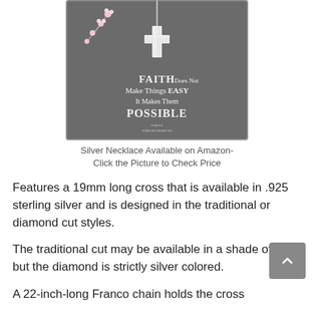[Figure (photo): A silver cross necklace displayed on a dark gray background card with floral decoration and text reading 'FAITH Does Not Make Things EASY It Makes Them POSSIBLE']
Silver Necklace Available on Amazon- Click the Picture to Check Price
Features a 19mm long cross that is available in .925 sterling silver and is designed in the traditional or diamond cut styles.
The traditional cut may be available in a shade of gold but the diamond is strictly silver colored.
A 22-inch-long Franco chain holds the cross